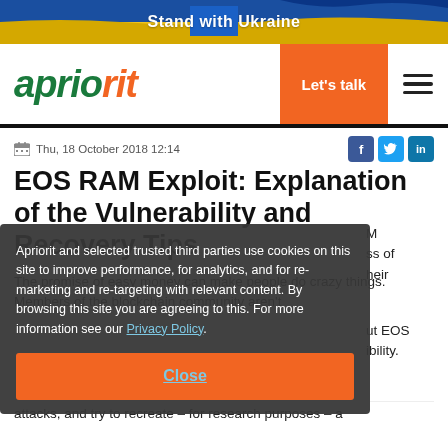Stand with Ukraine
[Figure (logo): Apriorit logo in green italic bold text with orange 'rit' portion, with orange 'Let's talk' button and hamburger menu]
Thu, 18 October 2018 12:14
EOS RAM Exploit: Explanation of the Vulnerability and Recovery Tips
The promise of easy money can make people do crazy things. Members of the blockchain community aren't [immune. In this article, we discuss the EOS RAM] [exploit — a vulnerability that allowed the mass] [purchase of RAM tokens without the knowledge of their] [owners.]
Apriorit and selected trusted third parties use cookies on this site to improve performance, for analytics, and for re-marketing and re-targeting with relevant content. By browsing this site you are agreeing to this. For more information see our Privacy Policy.
Close
attacks, and try to recreate – for research purposes – a